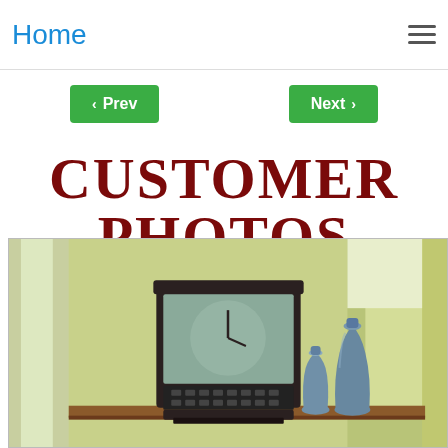Home
< Prev   Next >
CUSTOMER PHOTOS
[Figure (photo): Interior room photo showing a wooden mantel clock with dark frame and glass face, alongside two blue ceramic vases of different sizes, set against a light yellow-green wall with a wood shelf or surface.]